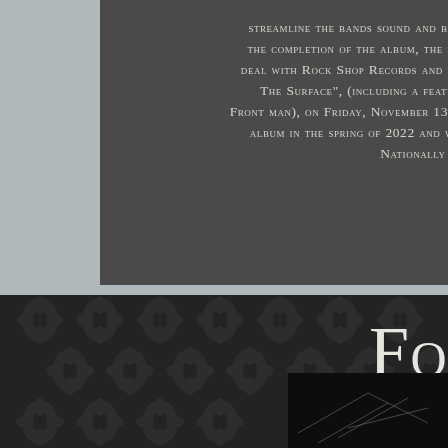streamline the bands sound and br... the completion of the album, the b... deal with Rock Shop Records and b... The Surface", (including a featu... Front man), on Friday, November 13t... album in the spring of 2022 and w... Nationally...
[Figure (photo): Bottom half of page showing a dark damask patterned background in dark grey/black tones with the letters 'FO' visible in large serif small-caps text at the right side, and a small dark photograph visible at the bottom right corner.]